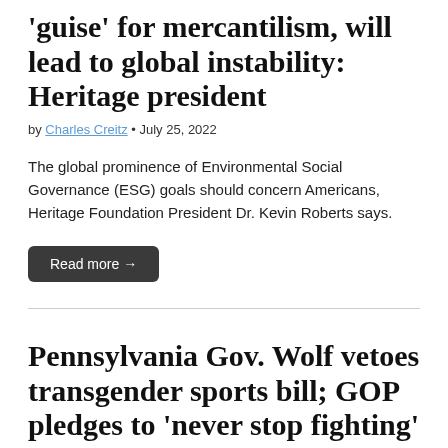'guise' for mercantilism, will lead to global instability: Heritage president
by Charles Creitz • July 25, 2022
The global prominence of Environmental Social Governance (ESG) goals should concern Americans, Heritage Foundation President Dr. Kevin Roberts says.
Read more →
Pennsylvania Gov. Wolf vetoes transgender sports bill; GOP pledges to 'never stop fighting' for 'fairness'